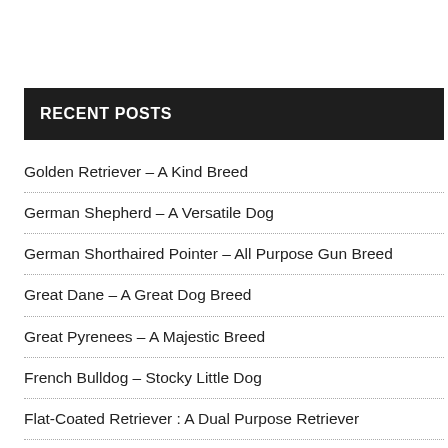RECENT POSTS
Golden Retriever – A Kind Breed
German Shepherd – A Versatile Dog
German Shorthaired Pointer – All Purpose Gun Breed
Great Dane – A Great Dog Breed
Great Pyrenees – A Majestic Breed
French Bulldog – Stocky Little Dog
Flat-Coated Retriever : A Dual Purpose Retriever
Finnish Hound – A Hunting Dog